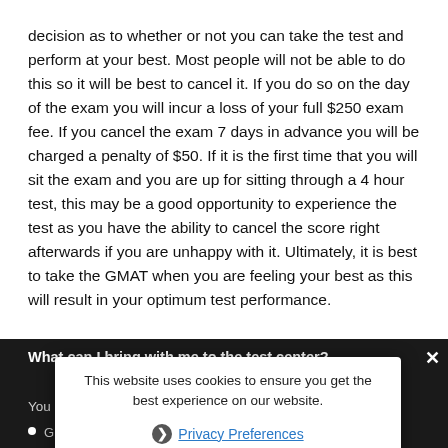decision as to whether or not you can take the test and perform at your best. Most people will not be able to do this so it will be best to cancel it. If you do so on the day of the exam you will incur a loss of your full $250 exam fee. If you cancel the exam 7 days in advance you will be charged a penalty of $50. If it is the first time that you will sit the exam and you are up for sitting through a 4 hour test, this may be a good opportunity to experience the test as you have the ability to cancel the score right afterwards if you are unhappy with it. Ultimately, it is best to take the GMAT when you are feeling your best as this will result in your optimum test performance.
What can I bring with me to the test center?
You are allowed in the test center with the following:
GMAT approved identification
Appointment confirmation letter or email you received from Pearson VUE
Prescription eyeglasses
This website uses cookies to ensure you get the best experience on our website.
Privacy Preferences
I Agree